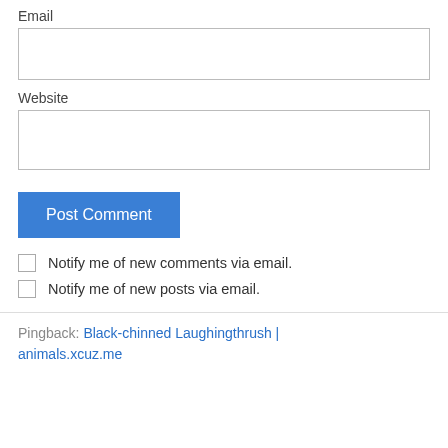Email
Website
Post Comment
Notify me of new comments via email.
Notify me of new posts via email.
Pingback: Black-chinned Laughingthrush | animals.xcuz.me